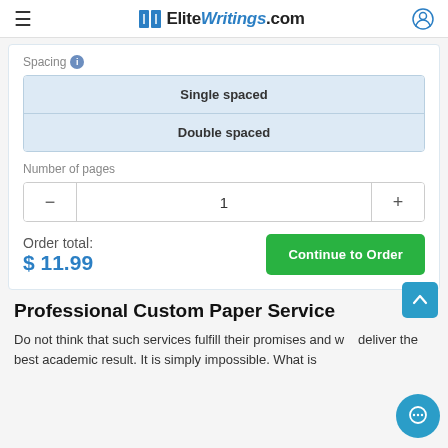EliteWritings.com
Spacing
Single spaced
Double spaced
Number of pages
1
Order total: $11.99
Continue to Order
Professional Custom Paper Service
Do not think that such services fulfill their promises and w... deliver the best academic result. It is simply impossible. What is